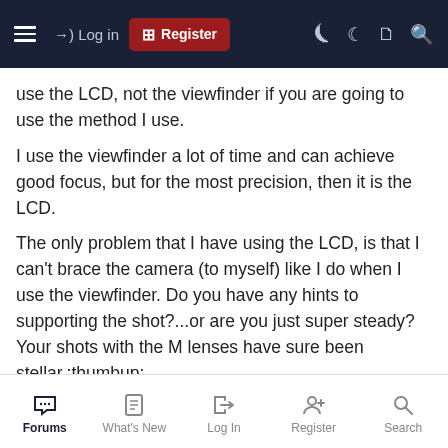Navigation bar with Log in, Register, and icon buttons
use the LCD, not the viewfinder if you are going to use the method I use.
I use the viewfinder a lot of time and can achieve good focus, but for the most precision, then it is the LCD.
The only problem that I have using the LCD, is that I can't brace the camera (to myself) like I do when I use the viewfinder. Do you have any hints to supporting the shot?...or are you just super steady? Your shots with the M lenses have sure been stellar.:thumbup:
Cindy Flood — Super Moderator
Forums | What's New | Log In | Register | Search